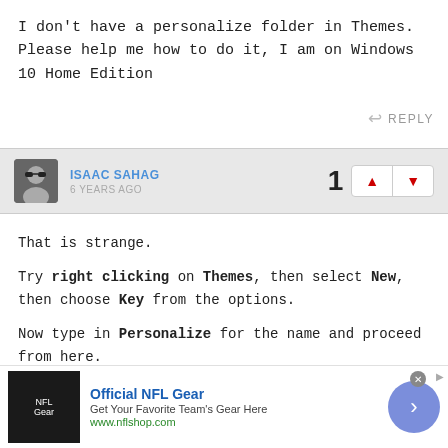I don't have a personalize folder in Themes. Please help me how to do it, I am on Windows 10 Home Edition
REPLY
ISAAC SAHAG
6 YEARS AGO
That is strange.
Try right clicking on Themes, then select New, then choose Key from the options.
Now type in Personalize for the name and proceed from here.
REPLY
Official NFL Gear
Get Your Favorite Team's Gear Here
www.nflshop.com